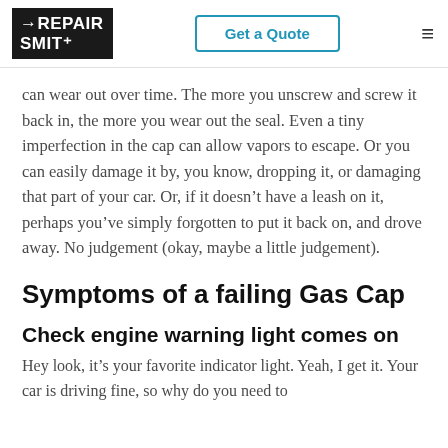RepairSmith | Get a Quote
can wear out over time. The more you unscrew and screw it back in, the more you wear out the seal. Even a tiny imperfection in the cap can allow vapors to escape. Or you can easily damage it by, you know, dropping it, or damaging that part of your car. Or, if it doesn't have a leash on it, perhaps you've simply forgotten to put it back on, and drove away. No judgement (okay, maybe a little judgement).
Symptoms of a failing Gas Cap
Check engine warning light comes on
Hey look, it's your favorite indicator light. Yeah, I get it. Your car is driving fine, so why do you need to